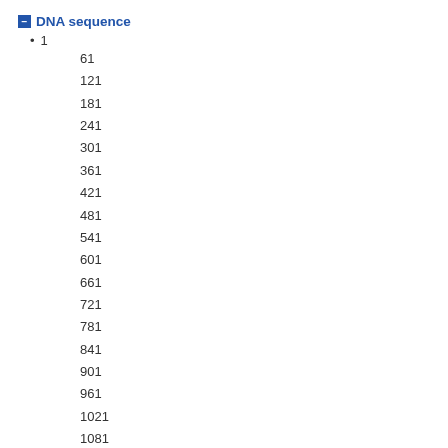DNA sequence
1
61
121
181
241
301
361
421
481
541
601
661
721
781
841
901
961
1021
1081
1141
1201
ATGTGGTTAGAAAAATTTAAAAATAAGAATAAAGAAACTAAATATAC